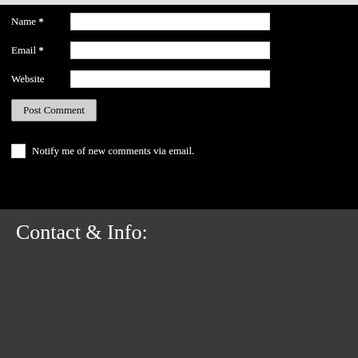Name *
Email *
Website
Post Comment
Notify me of new comments via email.
Contact & Info: